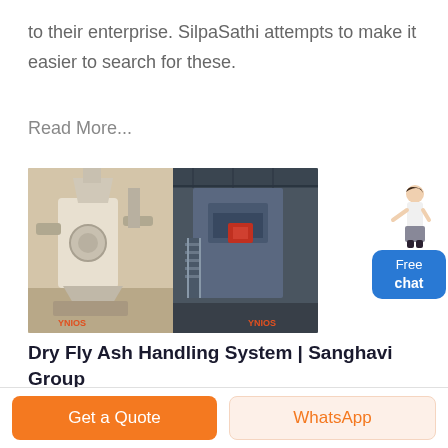to their enterprise. SilpaSathi attempts to make it easier to search for these.
Read More...
[Figure (photo): Two industrial machines: left shows a beige/cream colored grinding mill, right shows a blue steel industrial structure inside a warehouse. Both have 'YNIOS' branding visible.]
Dry Fly Ash Handling System | Sanghavi Group
The dry fly ash is collected directly from the Thermal power plants and
Free chat
Get a Quote
WhatsApp